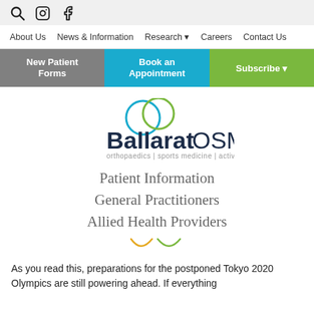Search | Facebook | Instagram icons
About Us  News & Information  Research ▼  Careers  Contact Us
New Patient Forms | Book an Appointment | Subscribe ▼
[Figure (logo): BallartOSM logo with two overlapping circles (blue and green) above text reading 'BallaratOSM' and tagline 'orthopaedics | sports medicine | active recovery']
Patient Information
General Practitioners
Allied Health Providers
As you read this, preparations for the postponed Tokyo 2020 Olympics are still powering ahead. If everything